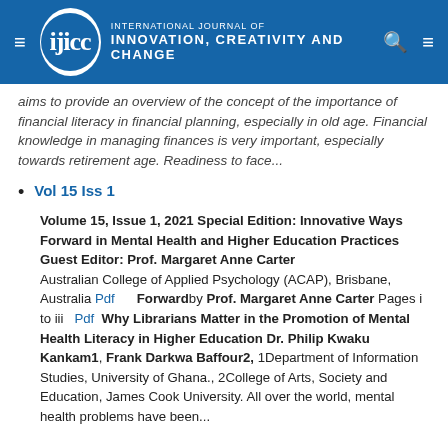INTERNATIONAL JOURNAL OF INNOVATION, CREATIVITY AND CHANGE
aims to provide an overview of the concept of the importance of financial literacy in financial planning, especially in old age. Financial knowledge in managing finances is very important, especially towards retirement age. Readiness to face...
Vol 15 Iss 1
Volume 15, Issue 1, 2021 Special Edition: Innovative Ways Forward in Mental Health and Higher Education Practices   Guest Editor: Prof. Margaret Anne Carter Australian College of Applied Psychology (ACAP), Brisbane, Australia Pdf      Forwardby Prof. Margaret Anne Carter Pages i to iii   Pdf  Why Librarians Matter in the Promotion of Mental Health Literacy in Higher Education Dr. Philip Kwaku Kankam1, Frank Darkwa Baffour2, 1Department of Information Studies, University of Ghana., 2College of Arts, Society and Education, James Cook University. All over the world, mental health problems have been...